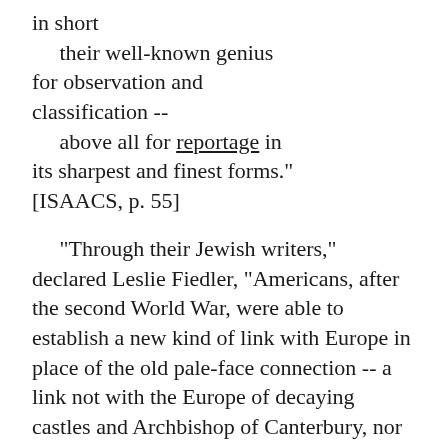in short
    their well-known genius for observation and classification --
    above all for reportage in its sharpest and finest forms." [ISAACS, p. 55]
"Through their Jewish writers," declared Leslie Fiedler, "Americans, after the second World War, were able to establish a new kind of link with Europe in place of the old pale-face connection -- a link not with the Europe of decaying castles and Archbishop of Canterbury, nor with that of the French symbolists, and the deeply polite Action Francaise -- for those are all Christian Europe; but with the post-Christian Europe of Marx and Freud, which is to say, of